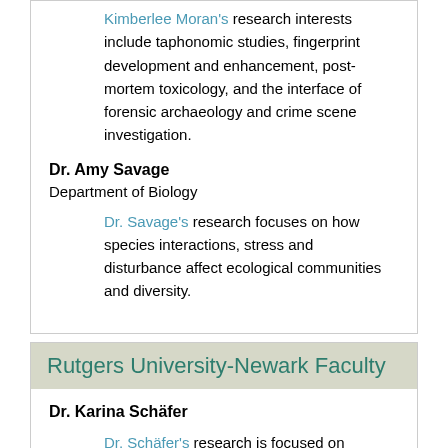Kimberlee Moran's research interests include taphonomic studies, fingerprint development and enhancement, post-mortem toxicology, and the interface of forensic archaeology and crime scene investigation.
Dr. Amy Savage
Department of Biology
Dr. Savage's research focuses on how species interactions, stress and disturbance affect ecological communities and diversity.
Rutgers University-Newark Faculty
Dr. Karina Schäfer
Dr. Schäfer's research is focused on refining carbon and water budgets of forest ecosystems under different disturbance regimes through sapflow based canopy